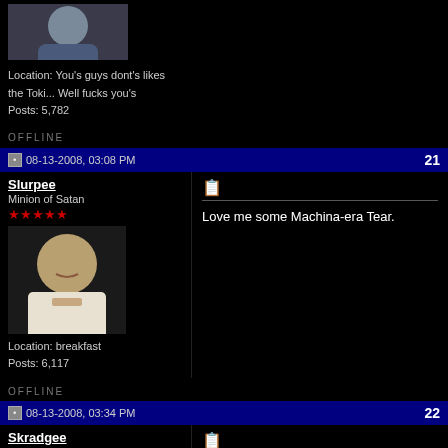Location: You's guys dont's likes the Toki... Well fucks you's
Posts: 5,782
OFFLINE
08-13-2008, 03:08 PM  21
Slurpee
Minion of Satan
★★★★★
Location: breakfast
Posts: 6,117
Love me some Machina-era Tear.
OFFLINE
08-13-2008, 03:34 PM  22
Skradgee
Boardcaster
★★★★